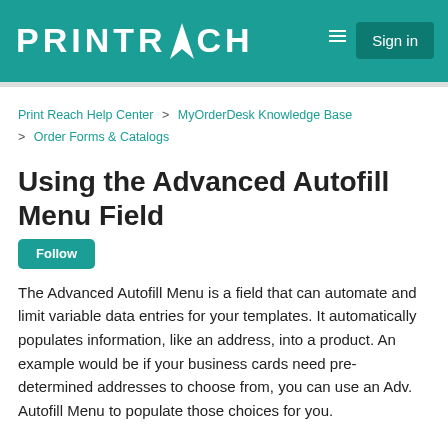PRINTREACH Sign in
Print Reach Help Center > MyOrderDesk Knowledge Base > Order Forms & Catalogs
Using the Advanced Autofill Menu Field
The Advanced Autofill Menu is a field that can automate and limit variable data entries for your templates. It automatically populates information, like an address, into a product. An example would be if your business cards need pre-determined addresses to choose from, you can use an Adv. Autofill Menu to populate those choices for you.